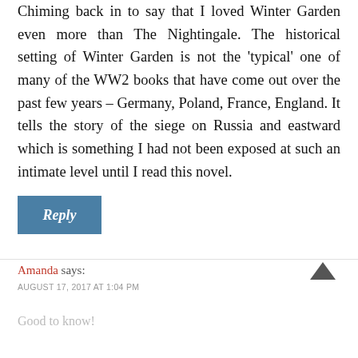Chiming back in to say that I loved Winter Garden even more than The Nightingale. The historical setting of Winter Garden is not the 'typical' one of many of the WW2 books that have come out over the past few years – Germany, Poland, France, England. It tells the story of the siege on Russia and eastward which is something I had not been exposed at such an intimate level until I read this novel.
Reply
Amanda says:
AUGUST 17, 2017 AT 1:04 PM
Good to know!